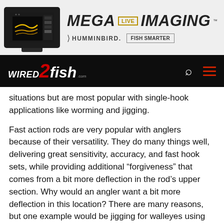[Figure (other): Advertisement banner for Humminbird MEGA Live Imaging, showing a fish-finder screen with yellow sonar imagery on a dark display, beside bold italic text reading MEGA LIVE IMAGING and a Humminbird logo with FISH SMARTER button]
WIRED2fish.com — navigation bar with search and menu icons
situations but are most popular with single-hook applications like worming and jigging.
Fast action rods are very popular with anglers because of their versatility. They do many things well, delivering great sensitivity, accuracy, and fast hook sets, while providing additional “forgiveness” that comes from a bit more deflection in the rod’s upper section. Why would an angler want a bit more deflection in this location? There are many reasons, but one example would be jigging for walleyes using braided line in deeper water. Since braided line does not stretch, a bit more deflection in the rod could easily be the difference that keeps a walleye from tearing the hooks